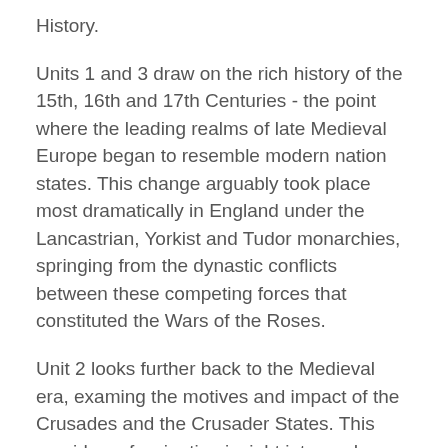History.
Units 1 and 3 draw on the rich history of the 15th, 16th and 17th Centuries - the point where the leading realms of late Medieval Europe began to resemble modern nation states. This change arguably took place most dramatically in England under the Lancastrian, Yorkist and Tudor monarchies, springing from the dynastic conflicts between these competing forces that constituted the Wars of the Roses.
Unit 2 looks further back to the Medieval era, examing the motives and impact of the Crusades and the Crusader States. This provides a fascinating insight into modern day Middle Eastern geopolitics.